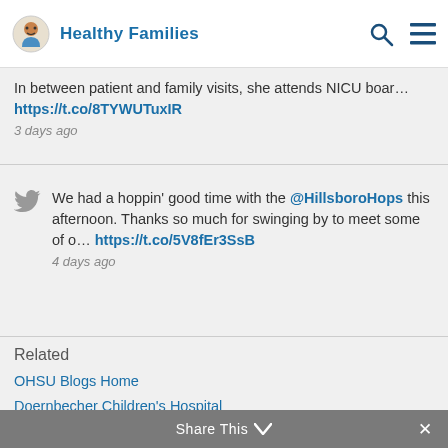Healthy Families
In between patient and family visits, she attends NICU boar... https://t.co/8TYWUTuxIR
3 days ago
We had a hoppin' good time with the @HillsboroHops this afternoon. Thanks so much for swinging by to meet some of o... https://t.co/5V8fEr3SsB
4 days ago
Related
OHSU Blogs Home
Doernbecher Children's Hospital
Share This ∨  ✕